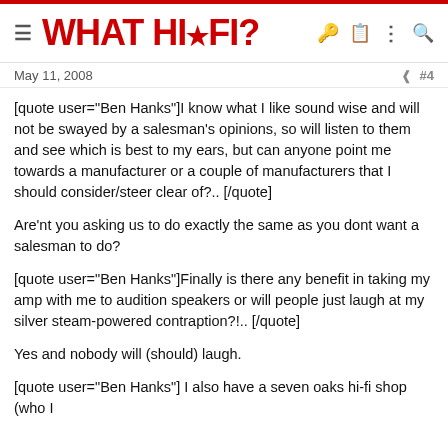WHAT HI·FI?
May 11, 2008   #4
[quote user="Ben Hanks"]I know what I like sound wise and will not be swayed by a salesman's opinions, so will listen to them and see which is best to my ears, but can anyone point me towards a manufacturer or a couple of manufacturers that I should consider/steer clear of?.. [/quote]
Are'nt you asking us to do exactly the same as you dont want a salesman to do?
[quote user="Ben Hanks"]Finally is there any benefit in taking my amp with me to audition speakers or will people just laugh at my silver steam-powered contraption?!.. [/quote]
Yes and nobody will (should) laugh.
[quote user="Ben Hanks"] I also have a seven oaks hi-fi shop (who I